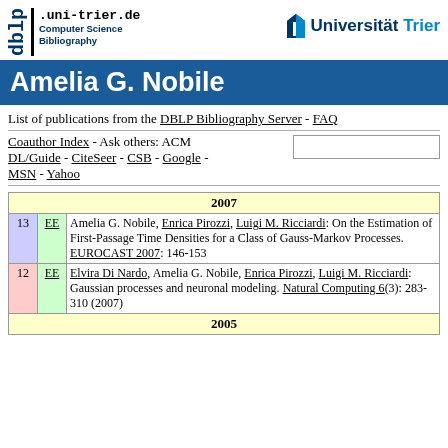dblp.uni-trier.de Computer Science Bibliography | Universität Trier
Amelia G. Nobile
List of publications from the DBLP Bibliography Server - FAQ
Coauthor Index - Ask others: ACM DL/Guide - CiteSeer - CSB - Google - MSN - Yahoo
| # | EE | Publication |
| --- | --- | --- |
| 2007 |  |  |
| 13 | EE | Amelia G. Nobile, Enrica Pirozzi, Luigi M. Ricciardi: On the Estimation of First-Passage Time Densities for a Class of Gauss-Markov Processes. EUROCAST 2007: 146-153 |
| 12 | EE | Elvira Di Nardo, Amelia G. Nobile, Enrica Pirozzi, Luigi M. Ricciardi: Gaussian processes and neuronal modeling. Natural Computing 6(3): 283-310 (2007) |
| 2005 |  |  |